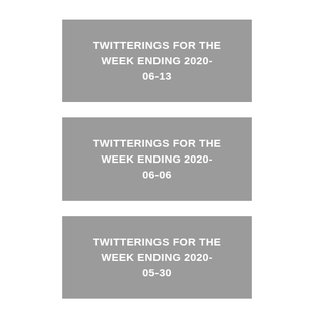[Figure (other): Gray card with white bold uppercase text: TWITTERINGS FOR THE WEEK ENDING 2020-06-13]
[Figure (other): Gray card with white bold uppercase text: TWITTERINGS FOR THE WEEK ENDING 2020-06-06]
[Figure (other): Gray card with white bold uppercase text: TWITTERINGS FOR THE WEEK ENDING 2020-05-30]